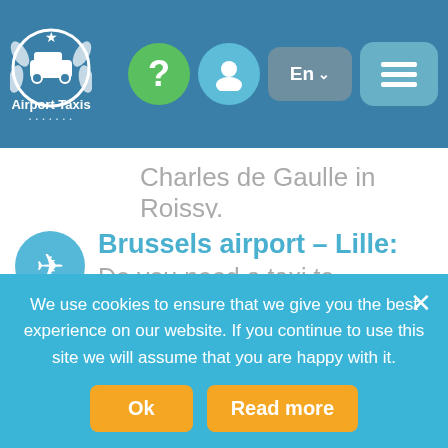Airport Taxis — navigation header with logo, help, user, language (En), and menu icons
Charles de Gaulle in Roissy.
Brussels airport – Lille:
Do you need a taxi to Aéroport de Lille-Lesquin? Or from Lille airport. Then quickly discover our low rates for cheap airport transport from Airport pickup to Lille.
We use cookies to ensure that we give you the best experience on our website. If you continue to use this site we will assume that you are happy with it.